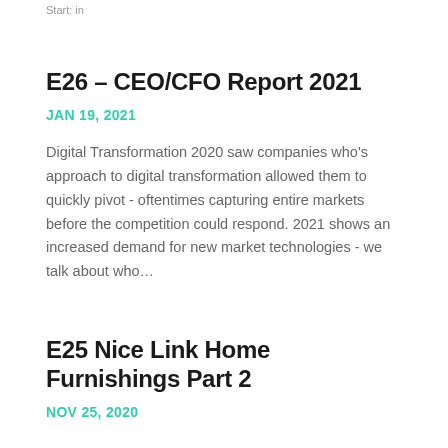Start: in
E26 – CEO/CFO Report 2021
JAN 19, 2021
Digital Transformation 2020 saw companies who's approach to digital transformation allowed them to quickly pivot - oftentimes capturing entire markets before the competition could respond. 2021 shows an increased demand for new market technologies - we talk about who…
E25 Nice Link Home Furnishings Part 2
NOV 25, 2020